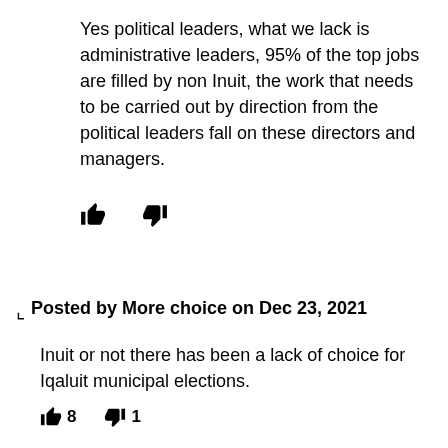Yes political leaders, what we lack is administrative leaders, 95% of the top jobs are filled by non Inuit, the work that needs to be carried out by direction from the political leaders fall on these directors and managers.
[Figure (other): Thumbs up and thumbs down icons with no count labels]
Posted by More choice on Dec 23, 2021
Inuit or not there has been a lack of choice for Iqaluit municipal elections.
[Figure (other): Thumbs up icon with count 8 and thumbs down icon with count 1]